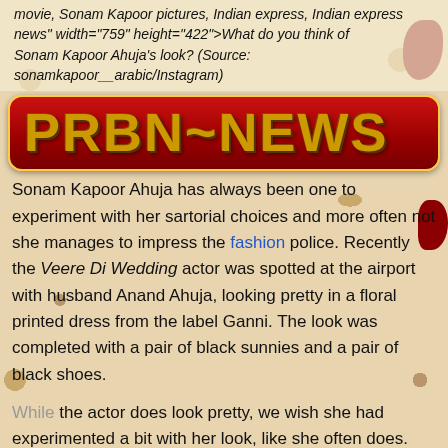movie, Sonam Kapoor pictures, Indian express, Indian express news" width="759" height="422">What do you think of Sonam Kapoor Ahuja's look? (Source: sonamkapoor__arabic/Instagram)
[Figure (logo): PRBN~NEWS logo on red rounded banner with gold/brown metallic text]
Sonam Kapoor Ahuja has always been one to experiment with her sartorial choices and more often not she manages to impress the fashion police. Recently the Veere Di Wedding actor was spotted at the airport with husband Anand Ahuja, looking pretty in a floral printed dress from the label Ganni. The look was completed with a pair of black sunnies and a pair of black shoes.
While the actor does look pretty, we wish she had experimented a bit with her look, like she often does.
As a case in point, a few days back she was spotted